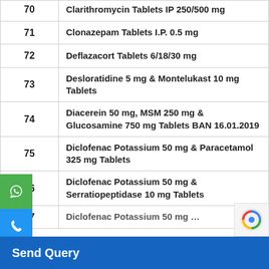| No. | Product Name |
| --- | --- |
| 70 | Clarithromycin Tablets IP 250/500 mg |
| 71 | Clonazepam Tablets I.P. 0.5 mg |
| 72 | Deflazacort Tablets 6/18/30 mg |
| 73 | Desloratidine 5 mg & Montelukast 10 mg Tablets |
| 74 | Diacerein 50 mg, MSM 250 mg & Glucosamine 750 mg Tablets BAN 16.01.2019 |
| 75 | Diclofenac Potassium 50 mg & Paracetamol 325 mg Tablets |
| 76 | Diclofenac Potassium 50 mg & Serratiopeptidase 10 mg Tablets |
| 77 | Diclofenac Potassium 50 mg ... |